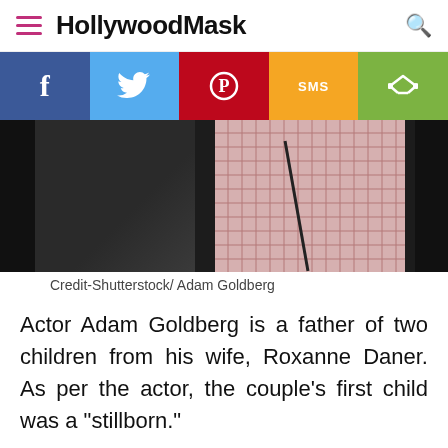HollywoodMask
[Figure (infographic): Social media share bar with Facebook, Twitter, Pinterest, SMS, and Share buttons]
[Figure (photo): Partial photo of Adam Goldberg, dark background with checkered shirt visible]
Credit-Shutterstock/ Adam Goldberg
Actor Adam Goldberg is a father of two children from his wife, Roxanne Daner. As per the actor, the couple's first child was a "stillborn."
The actor made the fateful news public while